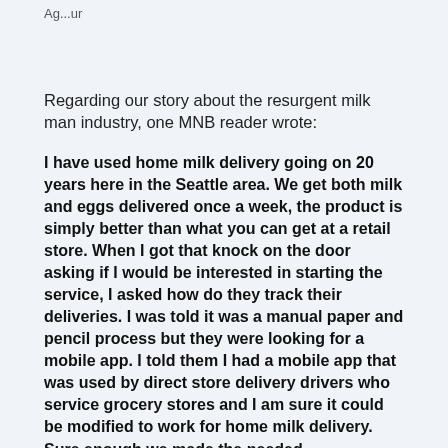Ag...ur
Regarding our story about the resurgent milk man industry, one MNB reader wrote:
I have used home milk delivery going on 20 years here in the Seattle area.  We get both milk and eggs delivered once a week, the product is simply better than what you can get at a retail store.  When I got that knock on the door asking if I would be interested in starting the service, I asked how do they track their deliveries.  I was told it was a manual paper and pencil process but they were looking for a mobile app.  I told them I had a mobile app that was used by direct store delivery drivers who service grocery stores and I am sure it could be modified to work for home milk delivery.  Sure enough we made the needed modifications and the real benefit of the new app was the time savings in the billing process.  The milk...